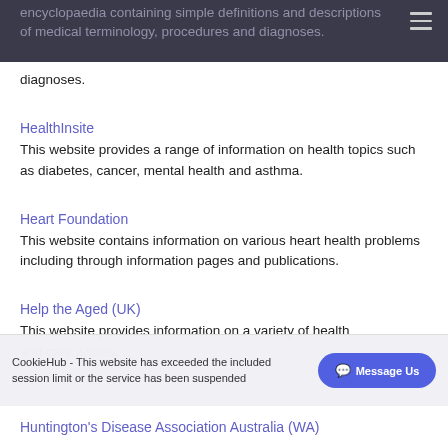encyclopaedia containing simple definitions and descriptions of medical terminology, procedures and diagnoses.
HealthInsite
This website provides a range of information on health topics such as diabetes, cancer, mental health and asthma.
Heart Foundation
This website contains information on various heart health problems including through information pages and publications.
Help the Aged (UK)
This website provides information on a variety of health and care issues.
CookieHub - This website has exceeded the included session limit or the service has been suspended
Huntington's Disease Association Australia (WA)